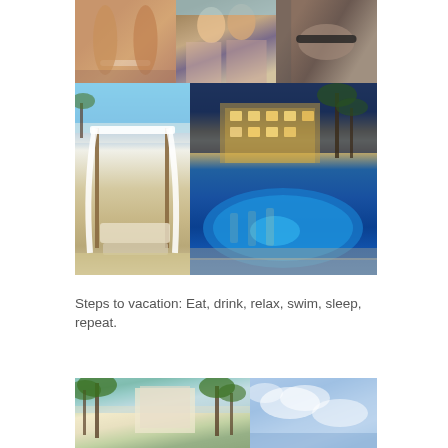[Figure (photo): Collage of vacation photos: three small photos on top row (legs/sunbathing, two women in bikinis selfie, wrist with fitness tracker), two larger photos in middle row (beach cabana with white drapes, resort pool at night with hotel building and palm trees), text quote, and two more photos at bottom (resort with palm trees, blue sky).]
Steps to vacation: Eat, drink, relax, swim, sleep, repeat.